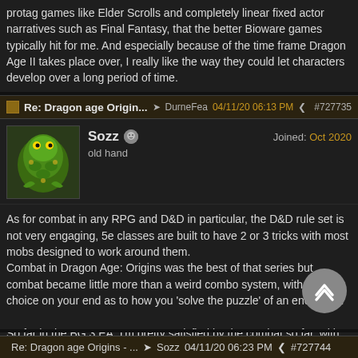protag games like Elder Scrolls and completely linear fixed actor narratives such as Final Fantasy, that the better Bioware games typically hit for me. And especially because of the time frame Dragon Age II takes place over, I really like the way they could let characters develop over a long period of time.
Re: Dragon age Origin... → DurneFea 04/11/20 06:13 PM ⋖ #727735
Sozz   Joined: Oct 2020
old hand
As for combat in any RPG and D&D in particular, the D&D rule set is not very engaging, 5e classes are built to have 2 or 3 tricks with most mobs designed to work around them.
Combat in Dragon Age: Origins was the best of that series but combat became little more than a weird combo system, with little choice on your end as to how you 'solve the puzzle' of an encounter.

So far in the BG:3 EA, I'm pretty satisfied by the combat so far, with the caveat that from first level to fourth you haven't really hit the levels in D&D that turn your characters into superhuman death dealers. There's a reason E6 Rules where a thing.
Re: Dragon age Origins - ... → Sozz 04/11/20 06:23 PM ⋖ #727744